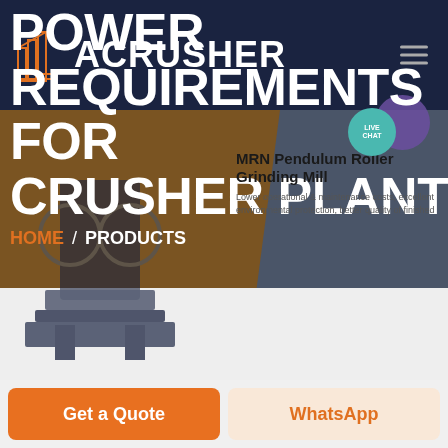ACRUSHER
POWER REQUIREMENTS FOR CRUSHER PLANT
MRN Pendulum Roller Grinding Mill
Lower operational & maintenance costs, excellent environmental protection, better quality of finished
HOME / PRODUCTS
Get a Quote
WhatsApp